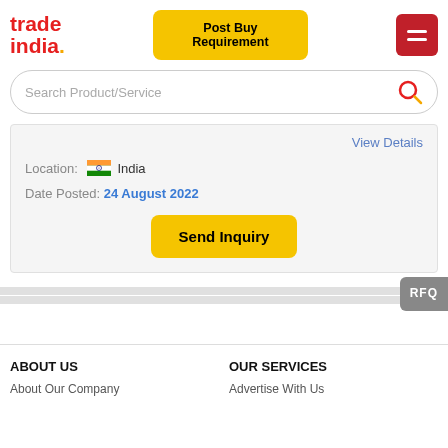[Figure (logo): TradeIndia logo in red and yellow]
Post Buy Requirement
[Figure (other): Hamburger menu icon on red background]
Search Product/Service
View Details
Location: India
Date Posted: 24 August 2022
Send Inquiry
RFQ
ABOUT US
OUR SERVICES
About Our Company
Advertise With Us